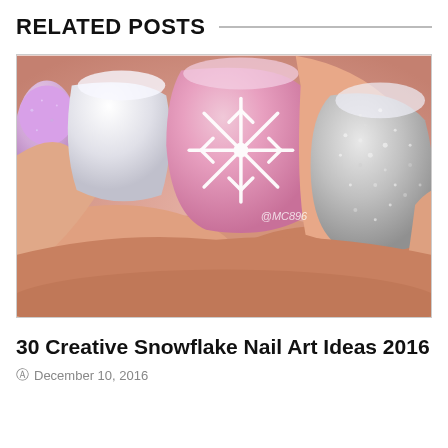RELATED POSTS
[Figure (photo): Close-up photograph of manicured fingernails with nail art: one nail with a white snowflake design on a pink background, one silver glitter nail, and other nails in white/pink/lavender. Watermark '@MC896' visible.]
30 Creative Snowflake Nail Art Ideas 2016
December 10, 2016